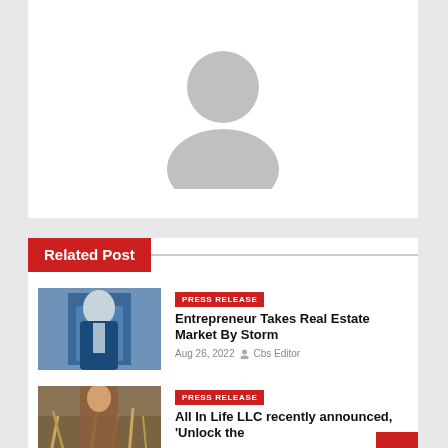[Figure (illustration): Generic user avatar placeholder — grey silhouette of a person on white background]
Related Post
[Figure (photo): Man in blue suit, cropped at chest, outdoor background]
PRESS RELEASE
Entrepreneur Takes Real Estate Market By Storm
Aug 26, 2022  Cbs Editor
[Figure (photo): Woman in brown coat standing among tall brown grasses outdoors]
PRESS RELEASE
All In Life LLC recently announced, 'Unlock the